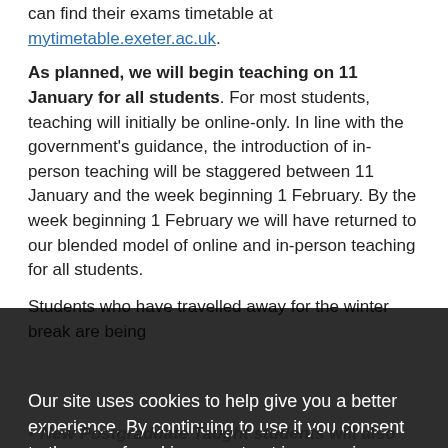can find their exams timetable at mytimetable.exeter.ac.uk.
As planned, we will begin teaching on 11 January for all students. For most students, teaching will initially be online-only. In line with the government's guidance, the introduction of in-person teaching will be staggered between 11 January and the week beginning 1 February. By the week beginning 1 February we will have returned to our blended model of online and in-person teaching for all students.
Students who have travelled away for the winter break are being advised by government not to return to their term-time accommodation until teaching starts. All students scheduled to have in-person teaching on campus will receive communications on when their in-person teaching will commence, from the week beginning 11 January. You can find more detail about their programme for the return of all students.
[Figure (screenshot): Cookie consent overlay on dark background with text: Our site uses cookies to help give you a better experience. By continuing to use it you consent to the use of cookies as set out in our privacy policy. Contains a Close button.]
New Postgraduate Taught students will also begin their in-person teaching from the week beginning 11 January.